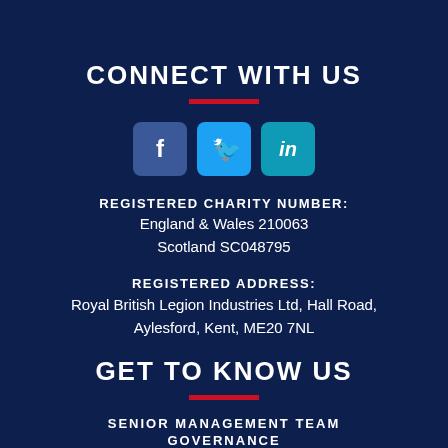CONNECT WITH US
[Figure (infographic): Three social media icons: Facebook (dark blue), Twitter (light blue), LinkedIn (teal/light blue)]
REGISTERED CHARITY NUMBER:
England & Wales 210063
Scotland SC048795
REGISTERED ADDRESS:
Royal British Legion Industries Ltd, Hall Road, Aylesford, Kent, ME20 7NL
GET TO KNOW US
SENIOR MANAGEMENT TEAM
GOVERNANCE